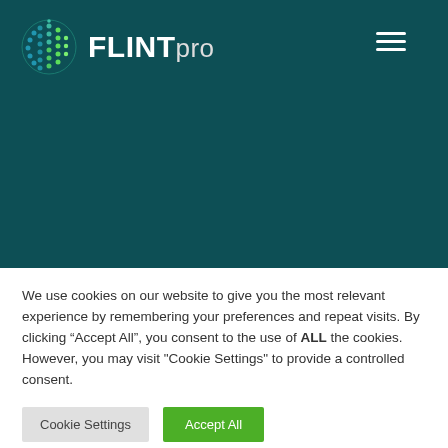[Figure (logo): FLINTpro logo with globe icon made of colored dots and brand name FLINT in bold white with 'pro' in lighter weight]
We use cookies on our website to give you the most relevant experience by remembering your preferences and repeat visits. By clicking “Accept All”, you consent to the use of ALL the cookies. However, you may visit "Cookie Settings" to provide a controlled consent.